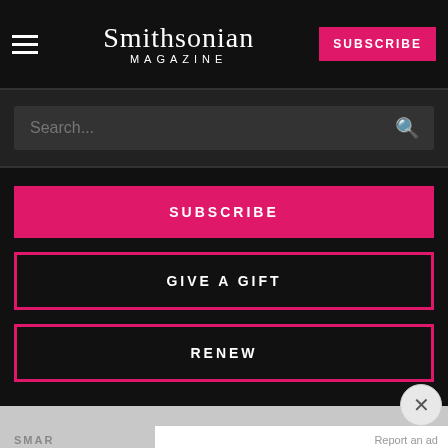Smithsonian MAGAZINE
Search...
SUBSCRIBE
GIVE A GIFT
RENEW
SMAR
Histo
[Figure (screenshot): Lidl advertisement: Better Food. Betterer Price: Lidl, with Lidl logo and navigation arrow icon]
Report an ad
Better Food. Betterer Price:
Lidl